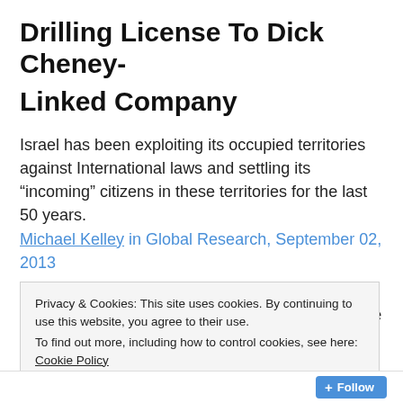Drilling License To Dick Cheney- Linked Company
Israel has been exploiting its occupied territories against International laws and settling its “incoming” citizens in these territories for the last 50 years.
Michael Kelley in Global Research, September 02, 2013
Business Insider 22 February 2013
Israel has granted a U.S. company the first license to
Privacy & Cookies: This site uses cookies. By continuing to use this website, you agree to their use.
To find out more, including how to control cookies, see here: Cookie Policy
Close and accept